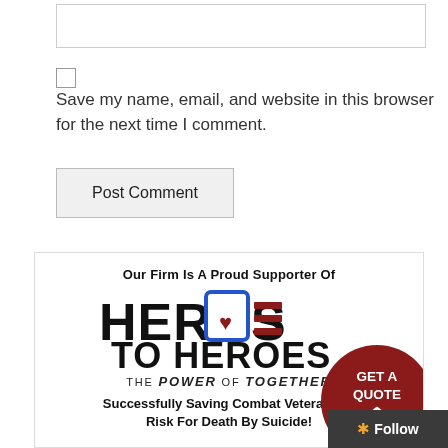[Figure (screenshot): A text input box (form field) at the top of the page]
[Figure (screenshot): A checkbox input element]
Save my name, email, and website in this browser for the next time I comment.
[Figure (screenshot): Post Comment button]
Our Firm Is A Proud Supporter Of
[Figure (logo): Heroes to Heroes logo with stylized text and icons including a heart and stripes]
THE POWER OF TOGETHER
Successfully Saving Combat Veterans At Risk For Death By Suicide!
[Figure (infographic): GET A QUOTE button as a dark red circle with house icon]
[Figure (screenshot): Follow button/bar in dark grey]